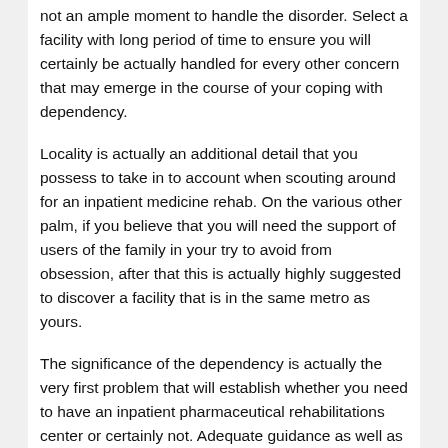not an ample moment to handle the disorder. Select a facility with long period of time to ensure you will certainly be actually handled for every other concern that may emerge in the course of your coping with dependency.
Locality is actually an additional detail that you possess to take in to account when scouting around for an inpatient medicine rehab. On the various other palm, if you believe that you will need the support of users of the family in your try to avoid from obsession, after that this is actually highly suggested to discover a facility that is in the same metro as yours.
The significance of the dependency is actually the very first problem that will establish whether you need to have an inpatient pharmaceutical rehabilitations center or certainly not. Adequate guidance as well as